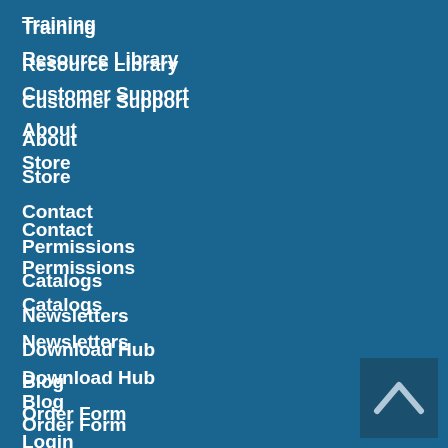Training
Resource Library
Customer Support
About
Store
Contact
Permissions
Catalogs
Newsletters
Download Hub
Blog
Order Form
Login
Cart
[Figure (other): Back to top button with chevron/caret up arrow icon]